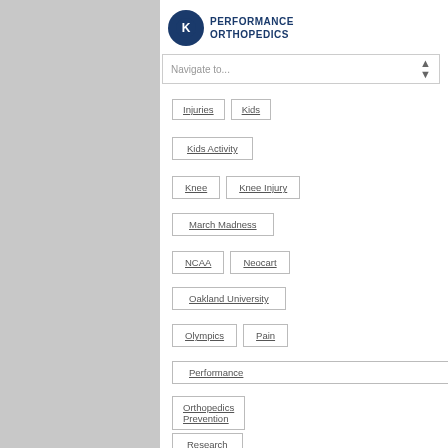[Figure (logo): Performance Orthopedics logo with circular icon and text]
Navigate to...
Injuries
Kids
Kids Activity
Knee
Knee Injury
March Madness
NCAA
Neocart
Oakland University
Olympics
Pain
Performance
Orthopedics
Prevention
Research
Reverse Total
Shoulder
Rotator Cuff